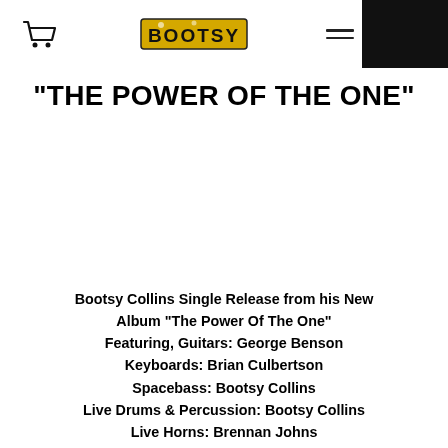BOOTSY [logo] [hamburger menu] [album cover photo]
"THE POWER OF THE ONE"
Bootsy Collins Single Release from his New Album "The Power Of The One"
Featuring, Guitars: George Benson
Keyboards: Brian Culbertson
Spacebass: Bootsy Collins
Live Drums & Percussion: Bootsy Collins
Live Horns: Brennan Johns
Lead Vocals: Bootsy Collins
Background Vocals: The Williams Singers & Bootsy Collins
Bass: Bootsy Collins